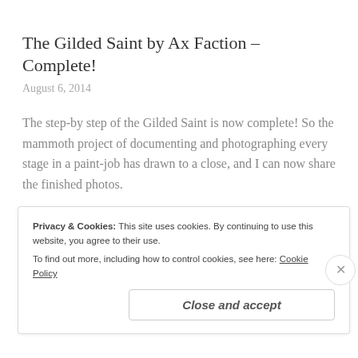The Gilded Saint by Ax Faction – Complete!
August 6, 2014
The step-by step of the Gilded Saint is now complete! So the mammoth project of documenting and photographing every stage in a paint-job has drawn to a close, and I can now share the finished photos.
[Figure (other): Action bar with comment and share icons on a light grey background]
Privacy & Cookies: This site uses cookies. By continuing to use this website, you agree to their use.
To find out more, including how to control cookies, see here: Cookie Policy
Close and accept